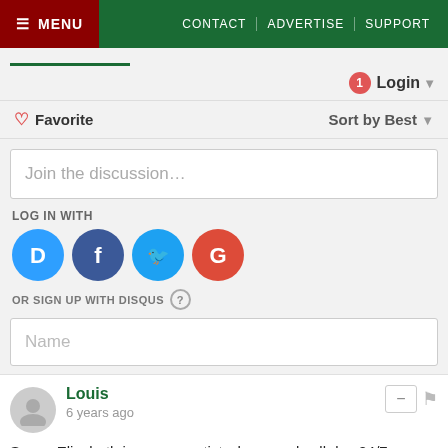MENU | CONTACT | ADVERTISE | SUPPORT
Login
♡ Favorite   Sort by Best
Join the discussion...
LOG IN WITH
[Figure (infographic): Social login icons: Disqus (blue), Facebook (dark blue), Twitter (light blue), Google (red)]
OR SIGN UP WITH DISQUS ?
Name
Louis
6 years ago
Sonya Elizabeth is a scam artist who spends all day 24/7 making right wing extremist comments on social media . Figures she is a trump whore . Here is a sample of her